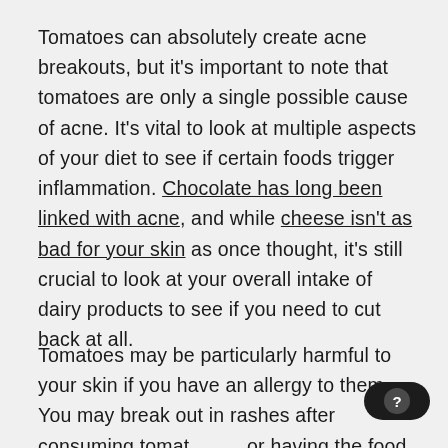Tomatoes can absolutely create acne breakouts, but it's important to note that tomatoes are only a single possible cause of acne. It's vital to look at multiple aspects of your diet to see if certain foods trigger inflammation. Chocolate has long been linked with acne, and while cheese isn't as bad for your skin as once thought, it's still crucial to look at your overall intake of dairy products to see if you need to cut back at all.
Tomatoes may be particularly harmful to your skin if you have an allergy to them. You may break out in rashes after consuming tomatoes or having the food product come into